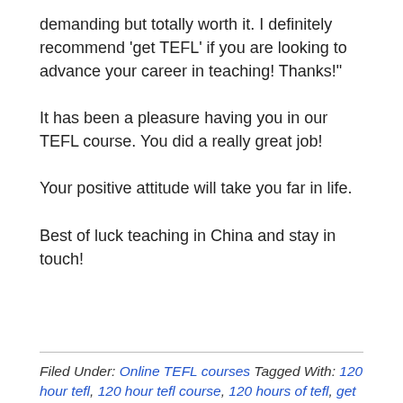demanding but totally worth it. I definitely recommend 'get TEFL' if you are looking to advance your career in teaching! Thanks!"
It has been a pleasure having you in our TEFL course. You did a really great job!
Your positive attitude will take you far in life.
Best of luck teaching in China and stay in touch!
Filed Under: Online TEFL courses Tagged With: 120 hour tefl, 120 hour tefl course, 120 hours of tefl, get tefl, get tefl certificate, get tefl certified, online tefl certification, online tefl course, online tefl